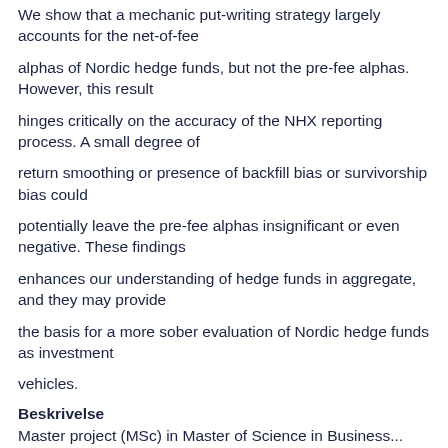We show that a mechanic put-writing strategy largely accounts for the net-of-fee
alphas of Nordic hedge funds, but not the pre-fee alphas. However, this result
hinges critically on the accuracy of the NHX reporting process. A small degree of
return smoothing or presence of backfill bias or survivorship bias could
potentially leave the pre-fee alphas insignificant or even negative. These findings
enhances our understanding of hedge funds in aggregate, and they may provide
the basis for a more sober evaluation of Nordic hedge funds as investment
vehicles.
Beskrivelse
Master project (MSc) in Master of Science in Business...